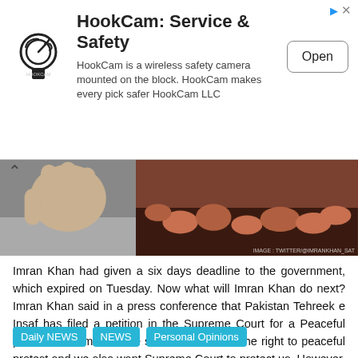[Figure (other): HookCam advertisement banner with logo, title 'HookCam: Service & Safety', description text, and Open button]
[Figure (photo): Banner image showing hands making gesture on left and crowd scene on right]
Imran Khan had given a six days deadline to the government, which expired on Tuesday. Now what will Imran Khan do next? Imran Khan said in a press conference that Pakistan Tehreek e Insaf has filed a petition in the Supreme Court for a Peaceful protest in Islamabad. He said that we have the right to peaceful protest and we also want Supreme Court to protect us. However, he further added that they will be well prepare this time and won't repeat previous mistakes. He will give the call for...
Daily NEWS
NEWS
Personal Opinions